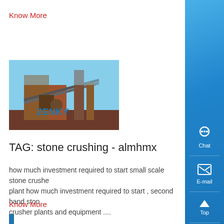Know More
[Figure (photo): Industrial stone crushing plant with conveyor belts and machinery, branded with ZENKY logo]
TAG: stone crushing - almhmx
how much investment required to start small scale stone crusher plant how much investment required to start , second hand stone crusher plants and equipment ....
Know More